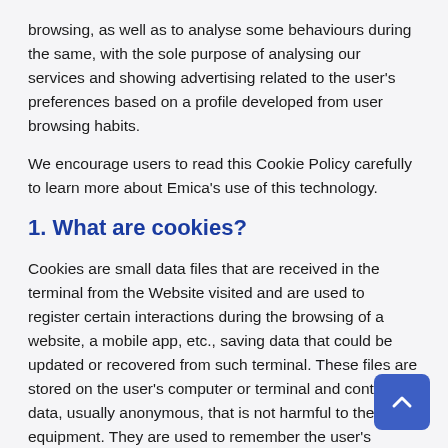browsing, as well as to analyse some behaviours during the same, with the sole purpose of analysing our services and showing advertising related to the user's preferences based on a profile developed from user browsing habits.
We encourage users to read this Cookie Policy carefully to learn more about Emica's use of this technology.
1. What are cookies?
Cookies are small data files that are received in the terminal from the Website visited and are used to register certain interactions during the browsing of a website, a mobile app, etc., saving data that could be updated or recovered from such terminal. These files are stored on the user's computer or terminal and contain data, usually anonymous, that is not harmful to the user's equipment. They are used to remember the user's preferences when they return to that website, such as the language selected